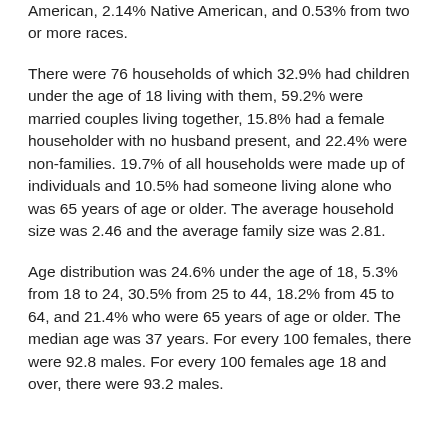American, 2.14% Native American, and 0.53% from two or more races.
There were 76 households of which 32.9% had children under the age of 18 living with them, 59.2% were married couples living together, 15.8% had a female householder with no husband present, and 22.4% were non-families. 19.7% of all households were made up of individuals and 10.5% had someone living alone who was 65 years of age or older. The average household size was 2.46 and the average family size was 2.81.
Age distribution was 24.6% under the age of 18, 5.3% from 18 to 24, 30.5% from 25 to 44, 18.2% from 45 to 64, and 21.4% who were 65 years of age or older. The median age was 37 years. For every 100 females, there were 92.8 males. For every 100 females age 18 and over, there were 93.2 males.